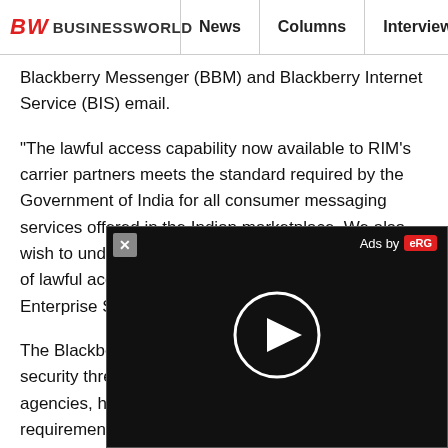BW BUSINESSWORLD | News | Columns | Interviews | BW
Blackberry Messenger (BBM) and Blackberry Internet Service (BIS) email.
"The lawful access capability now available to RIM's carrier partners meets the standard required by the Government of India for all consumer messaging services offered in the Indian marketplace. We also wish to underscore, once again, that this enablement of lawful access does not extend to Blackberry Enterprise Server."
The Blackberry services, which were termed as security threat at one point of time by security agencies, had been asked to provide web-browsing requirements in respect of Blackberry Internet Service (BIS) in consultation and their lawful interception vendors
RIM agreed to place a server in Mumbai in this
[Figure (screenshot): Video advertisement overlay with close button (X), 'Ads by' label with red logo, and circular play button on dark background]